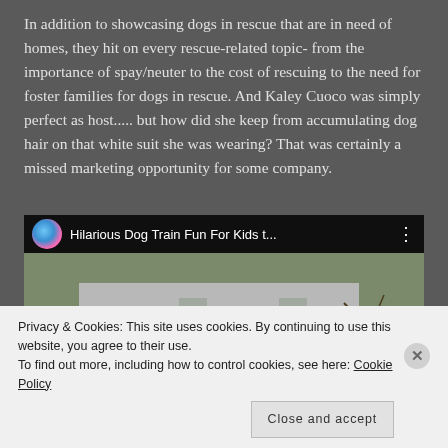In addition to showcasing dogs in rescue that are in need of homes, they hit on every rescue-related topic- from the importance of spay/neuter to the cost of rescuing to the need for foster families for dogs in rescue. And Kaley Cuoco was simply perfect as host..... but how did she keep from accumulating dog hair on that white suit she was wearing? That was certainly a missed marketing opportunity for some company.
[Figure (screenshot): Embedded YouTube video thumbnail titled 'Hilarious Dog Train Fun For Kids t...' showing a scene with a green tractor, colorful train cars, and a building in the background, with a red YouTube play button in the center.]
Privacy & Cookies: This site uses cookies. By continuing to use this website, you agree to their use.
To find out more, including how to control cookies, see here: Cookie Policy